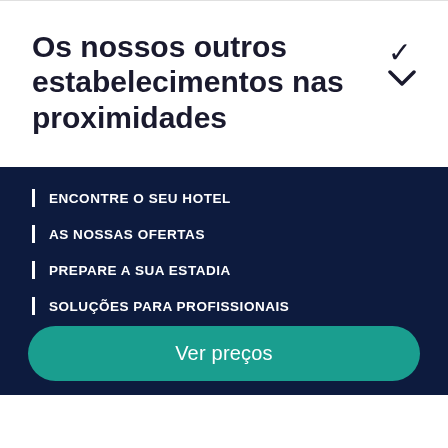Os nossos outros estabelecimentos nas proximidades
ENCONTRE O SEU HOTEL
AS NOSSAS OFERTAS
PREPARE A SUA ESTADIA
SOLUÇÕES PARA PROFISSIONAIS
Ver preços